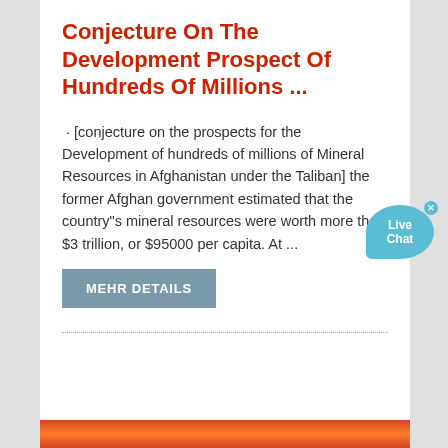Conjecture On The Development Prospect Of Hundreds Of Millions ...
· [conjecture on the prospects for the Development of hundreds of millions of Mineral Resources in Afghanistan under the Taliban] the former Afghan government estimated that the country"s mineral resources were worth more than $3 trillion, or $95000 per capita. At ...
MEHR DETAILS
[Figure (other): Live Chat speech bubble widget in light blue, positioned at right side of page]